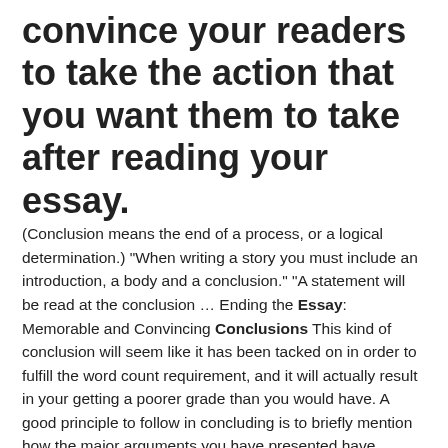convince your readers to take the action that you want them to take after reading your essay.
(Conclusion means the end of a process, or a logical determination.) "When writing a story you must include an introduction, a body and a conclusion." "A statement will be read at the conclusion … Ending the Essay: Memorable and Convincing Conclusions This kind of conclusion will seem like it has been tacked on in order to fulfill the word count requirement, and it will actually result in your getting a poorer grade than you would have. A good principle to follow in concluding is to briefly mention how the major arguments you have presented have proven the thesis you listed in your introduction. Essay Writing: The Basics | UNSW Current Students Write an essay plan and organise your ideas: Write a first draft to include your introduction, body and conclusion: Set the draft aside for a day or two,